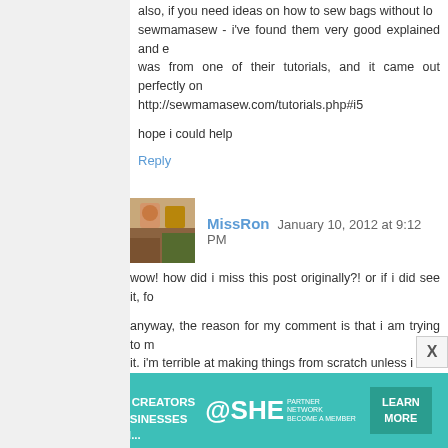also, if you need ideas on how to sew bags without lo... sewmamasew - i've found them very good explained and ... was from one of their tutorials, and it came out perfectly on... http://sewmamasew.com/tutorials.php#i5
hope i could help
Reply
MissRon  January 10, 2012 at 9:12 PM
wow! how did i miss this post originally?! or if i did see it, fo...
anyway, the reason for my comment is that i am trying to m... it. i'm terrible at making things from scratch unless i hav... handbag that is made from gorgeous material in a burnt o... PLASTIC POCKETS on the outside bag so the book cov... side, slide out cover and slide in new cover and rezip! thi... were made large enough for different sized covers, but v... drenched in a downpour. i tried so hard to keep it dry but... flooding, i'm a big fan of the waterproof thing.
anyone know how i may go about it?
Reply
[Figure (infographic): SHE Partner Network advertisement banner: 'We help content creators grow businesses through...' with Learn More button]